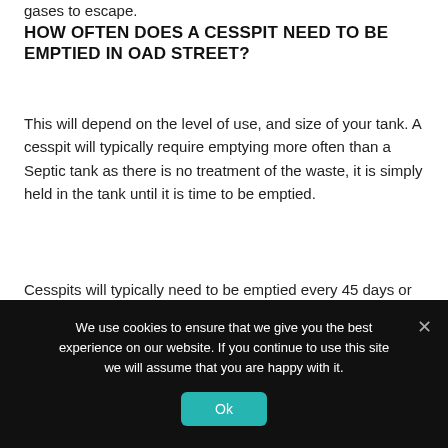gases to escape.
HOW OFTEN DOES A CESSPIT NEED TO BE EMPTIED IN OAD STREET?
This will depend on the level of use, and size of your tank. A cesspit will typically require emptying more often than a Septic tank as there is no treatment of the waste, it is simply held in the tank until it is time to be emptied.
Cesspits will typically need to be emptied every 45 days or so, you may have a cesspit alarm that will tell you when it is time to empty it.
We use cookies to ensure that we give you the best experience on our website. If you continue to use this site we will assume that you are happy with it.